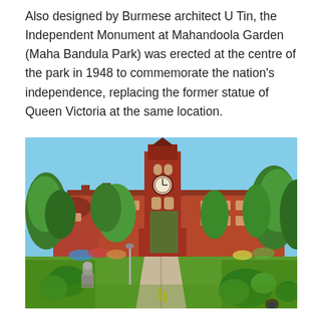Also designed by Burmese architect U Tin, the Independent Monument at Mahandoola Garden (Maha Bandula Park) was erected at the centre of the park in 1948 to commemorate the nation's independence, replacing the former statue of Queen Victoria at the same location.
[Figure (photo): Photograph of Mahandoola Garden (Maha Bandula Park) in Yangon, Myanmar, showing a large red-brick colonial building with a prominent clock tower in the background, surrounded by green trees and manicured hedges. The foreground shows a park with a wide pathway, topiary bushes, a small animal statue on a pedestal, and grass lawn. The sky is clear and blue.]